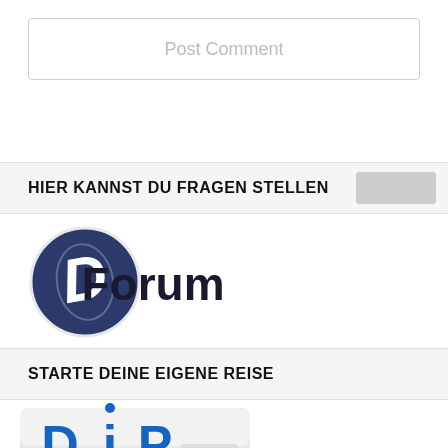[Figure (other): Post Comment button — a rectangular outlined button with light gray text reading 'Post Comment']
HIER KANNST DU FRAGEN STELLEN
[Figure (logo): D Forum logo — circular dark navy blue badge with stylized italic D letter in white, followed by bold dark text 'Forum']
STARTE DEINE EIGENE REISE
[Figure (logo): DIP Lite logo — blue letters 'DiP' with a white dot above the i, on a light gray glossy tablet/phone app background, with 'Lite' label]